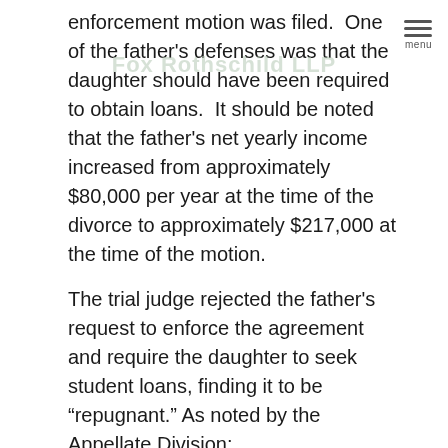enforcement motion was filed. One of the father's defenses was that the daughter should have been required to obtain loans. It should be noted that the father's net yearly income increased from approximately $80,000 per year at the time of the divorce to approximately $217,000 at the time of the motion.
The trial judge rejected the father's request to enforce the agreement and require the daughter to seek student loans, finding it to be “repugnant.” As noted by the Appellate Division:
The court found it was “unfair and unjust” to require Jane to apply for “all loans, grants, aid and scholarships available to her” and to apply them first to the college costs because Jane “should not be bound